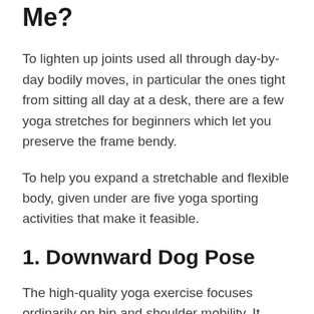Me?
To lighten up joints used all through day-by-day bodily moves, in particular the ones tight from sitting all day at a desk, there are a few yoga stretches for beginners which let you preserve the frame bendy.
To help you expand a stretchable and flexible body, given under are five yoga sporting activities that make it feasible.
1. Downward Dog Pose
The high-quality yoga exercise focuses ordinarily on hip and shoulder mobility. It gives your hamstrings, lats, and deltoids a terrific stretch.
Steps to Practice Downward Dog Pose